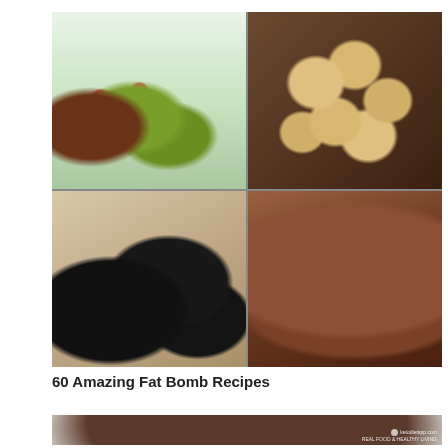[Figure (photo): 2x2 collage of keto fat bomb recipes: top-left shows green avocado cups with bacon and strawberries on a white plate; top-right shows golden round ball-shaped fat bombs on a decorative plate with flowers in background; bottom-left shows dark chocolate peanut butter cups in white cupcake liners; bottom-right shows chocolate fudge bars dusted with cocoa powder on burlap]
60 Amazing Fat Bomb Recipes
[Figure (photo): Partial photo showing chocolate-covered or dark chocolate dessert, with ketodietapp.com watermark logo visible in top-right corner]